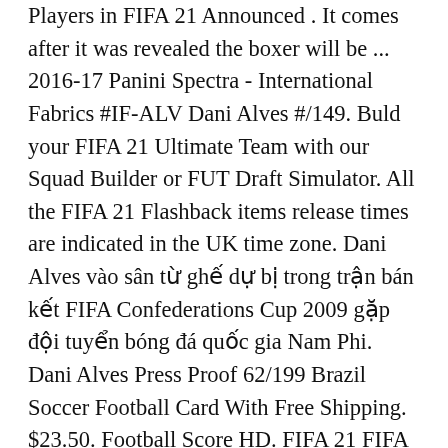Players in FIFA 21 Announced . It comes after it was revealed the boxer will be ... 2016-17 Panini Spectra - International Fabrics #IF-ALV Dani Alves #/149. Buld your FIFA 21 Ultimate Team with our Squad Builder or FUT Draft Simulator. All the FIFA 21 Flashback items release times are indicated in the UK time zone. Dani Alves vào sân từ ghế dự bị trong trận bán kết FIFA Confederations Cup 2009 gặp đội tuyển bóng đá quốc gia Nam Phi. Dani Alves Press Proof 62/199 Brazil Soccer Football Card With Free Shipping. $23.50. Football Score HD. FIFA 21 FIFA 20 FIFA 19 FIFA 18 FIFA 17 FIFA 16 FIFA 15 FIFA 14 FIFA 13 FIFA 12 FIFA 11 FIFA 10 FIFA 09 FIFA 08 FIFA 07. kktalha. Dani Alves says that Barcelona did not have the guts to admit they